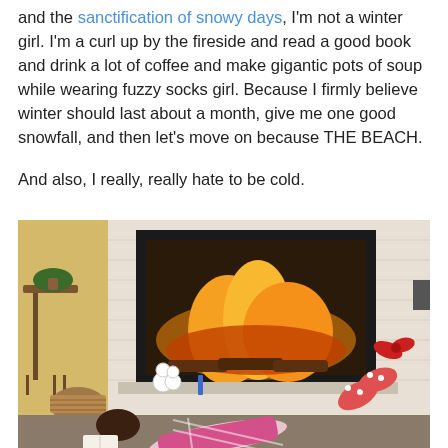and the sanctification of snowy days, I'm not a winter girl. I'm a curl up by the fireside and read a good book and drink a lot of coffee and make gigantic pots of soup while wearing fuzzy socks girl. Because I firmly believe winter should last about a month, give me one good snowfall, and then let's move on because THE BEACH.

And also, I really, really hate to be cold.
[Figure (photo): A child lying on the floor reading a book in front of a lit fireplace, wearing polka dot socks/mittens and plaid pajamas. Christmas decorations including small snowmen figures are near the fireplace hearth. A wooden side table with a plant is visible on the left.]